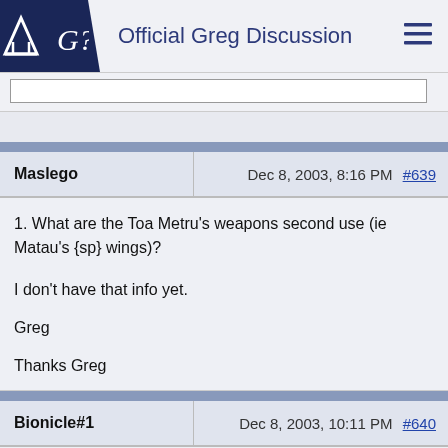Official Greg Discussion
| Maslego | Dec 8, 2003, 8:16 PM  #639 |
| --- | --- |
1. What are the Toa Metru's weapons second use (ie Matau's {sp} wings)?
I don't have that info yet.
Greg
Thanks Greg
| Bionicle#1 | Dec 8, 2003, 10:11 PM  #640 |
| --- | --- |
QUOTE
Sorry, but a couple questions popped into my head while reading the GregF